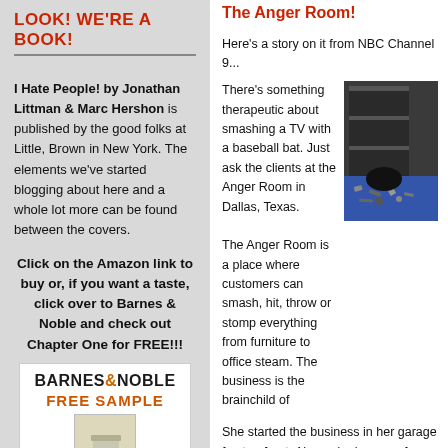LOOK! WE'RE A BOOK!
I Hate People! by Jonathan Littman & Marc Hershon is published by the good folks at Little, Brown in New York. The elements we've started blogging about here and a whole lot more can be found between the covers.
Click on the Amazon link to buy or, if you want a taste, click over to Barnes & Noble and check out Chapter One for FREE!!!
[Figure (other): Barnes & Noble Free Sample book advertisement showing book cover for 'I Hate People']
The Anger Room!
Here's a story on it from NBC Channel 9...
There's something therapeutic about smashing a TV with a baseball bat. Just ask the clients at the Anger Room in Dallas, Texas.
[Figure (photo): Photo of the Anger Room interior showing smashed items on a blue floor]
The Anger Room is a place where customers can smash, hit, throw or stomp everything from furniture to office steam. The business is the brainchild of
She started the business in her garage fo storefront. Alexander knows a few things once worked at a call center.
"Any type of call center situation, you can get called stupid; it's all your fault."
Since she moved to a physical location, A clients. She said her customers work in j emplovees people from hospitals attern